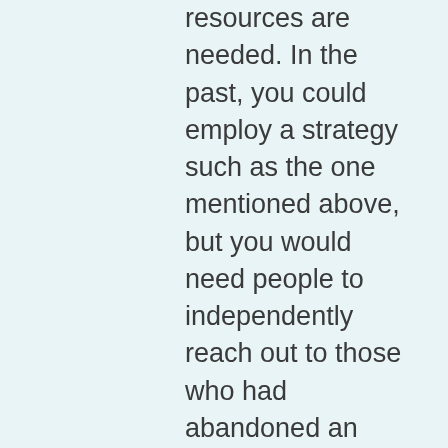resources are needed. In the past, you could employ a strategy such as the one mentioned above, but you would need people to independently reach out to those who had abandoned an application. This not only takes more time, but it also consumes your resources, often making the effort not even worth the hassle.
However, with the AI and machine learning, you can identify issues and address them more quickly and efficiently than ever before.
Marginal Gains = Increased Efficiency and